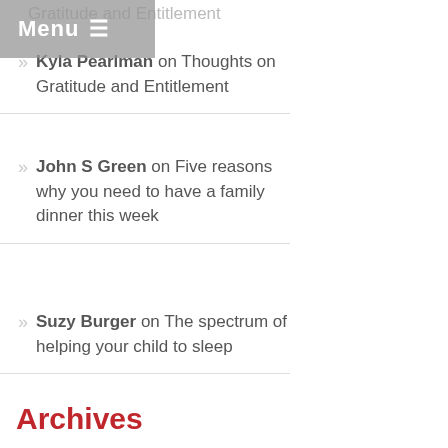Menu
Kyla Pearlman on Thoughts on Gratitude and Entitlement
John S Green on Five reasons why you need to have a family dinner this week
Suzy Burger on The spectrum of helping your child to sleep
Archives